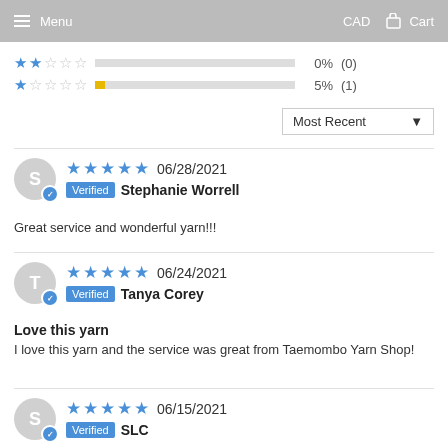Menu   CAD   Cart
[Figure (other): Star rating row: 2 stars filled, 3 empty, 0%, (0)]
[Figure (other): Star rating row: 1 star filled, 4 empty, 5%, (1)]
Most Recent ▼
S  ★★★★★  06/28/2021  Verified  Stephanie Worrell
Great service and wonderful yarn!!!
T  ★★★★★  06/24/2021  Verified  Tanya Corey
Love this yarn
I love this yarn and the service was great from Taemombo Yarn Shop!
S  ★★★★★  06/15/2021  Verified  SLC